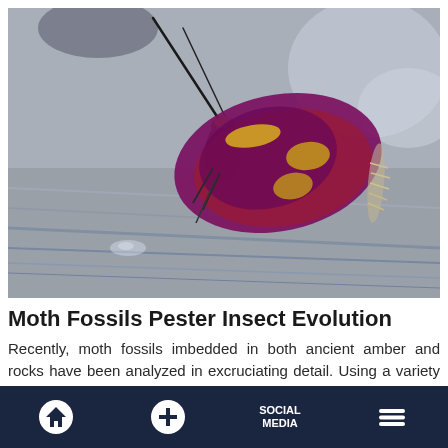[Figure (photo): Close-up macro photograph of a small moth with purple/magenta wings decorated with golden-yellow spots, perched on a textured grey wooden surface. The moth has long antennae and fuzzy wingtip fringe.]
Moth Fossils Pester Insect Evolution
Recently, moth fossils imbedded in both ancient amber and rocks have been analyzed in excruciating detail. Using a variety of high-powered microscopes,
SOCIAL MEDIA